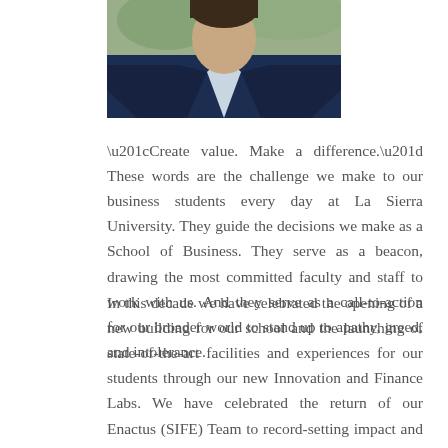[Figure (photo): Portrait photograph of a man in a dark navy suit with white shirt, cropped to show upper body and face against a blurred outdoor background.]
“Create value. Make a difference.” These words are the challenge we make to our business students every day at La Sierra University. They guide the decisions we make as a School of Business. They serve as a beacon, drawing the most committed faculty and staff to work with us. And they serve as a call-to-action for our broader world to stand up to apathy, greed, and intolerance.
In this decade we have celebrated the opening of a new building for our school and the launching of state-of-the-art facilities and experiences for our students through our new Innovation and Finance Labs. We have celebrated the return of our Enactus (SIFE) Team to record-setting impact and competition placement. We became the home of one of Southern